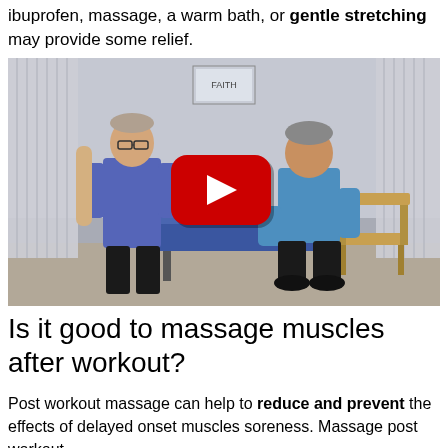ibuprofen, massage, a warm bath, or gentle stretching may provide some relief.
[Figure (photo): Video thumbnail showing two men in blue shirts in a medical/physical therapy setting. One man is standing holding a foam roller, the other is seated on a chair near an examination table. A YouTube play button overlay is visible in the center.]
Is it good to massage muscles after workout?
Post workout massage can help to reduce and prevent the effects of delayed onset muscles soreness. Massage post workout also helps to enhance blood flow helping to...